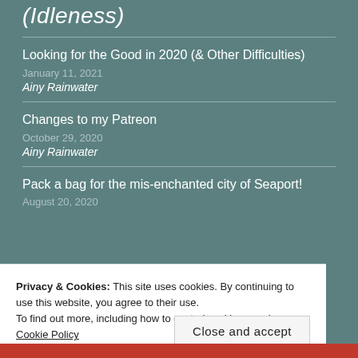(Idleness)
Looking for the Good in 2020 (& Other Difficulties)
January 11, 2021
Ainy Rainwater
Changes to my Patreon
October 29, 2020
Ainy Rainwater
Pack a bag for the mis-enchanted city of Seaport!
August 20, 2020
Privacy & Cookies: This site uses cookies. By continuing to use this website, you agree to their use.
To find out more, including how to control cookies, see here: Cookie Policy
Close and accept